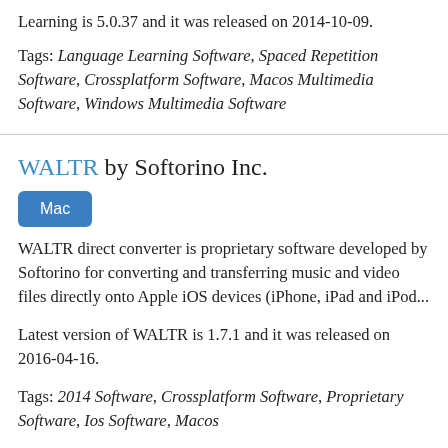Learning is 5.0.37 and it was released on 2014-10-09.
Tags: Language Learning Software, Spaced Repetition Software, Crossplatform Software, Macos Multimedia Software, Windows Multimedia Software
WALTR by Softorino Inc.
Mac
WALTR direct converter is proprietary software developed by Softorino for converting and transferring music and video files directly onto Apple iOS devices (iPhone, iPad and iPod...
Latest version of WALTR is 1.7.1 and it was released on 2016-04-16.
Tags: 2014 Software, Crossplatform Software, Proprietary Software, Ios Software, Macos